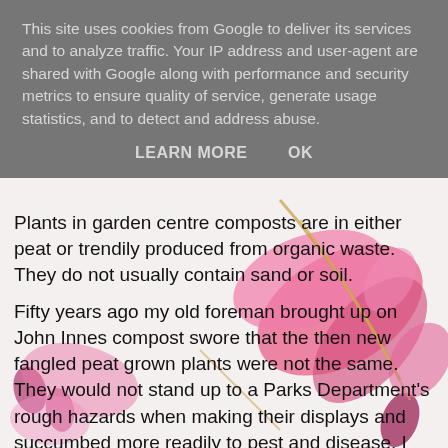This site uses cookies from Google to deliver its services and to analyze traffic. Your IP address and user-agent are shared with Google along with performance and security metrics to ensure quality of service, generate usage statistics, and to detect and address abuse.
LEARN MORE   OK
[Figure (photo): Pink bleeding heart flowers (Lamprocapnos spectabilis) with drooping petals on white background, visible behind and around the text content]
Plants in garden centre composts are in either peat or trendily produced from organic waste. They do not usually contain sand or soil.
Fifty years ago my old foreman brought up on John Innes compost swore that the then new fangled peat grown plants were not the same. They would not stand up to a Parks Department's rough hazards when making their displays and succumbed more readily to pest and disease. I argued with him then but would not do so now.
Another kind of softness is that garden centre plants